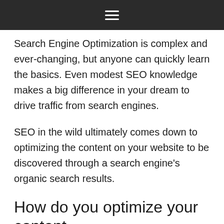☰
Search Engine Optimization is complex and ever-changing, but anyone can quickly learn the basics. Even modest SEO knowledge makes a big difference in your dream to drive traffic from search engines.
SEO in the wild ultimately comes down to optimizing the content on your website to be discovered through a search engine's organic search results.
How do you optimize your content